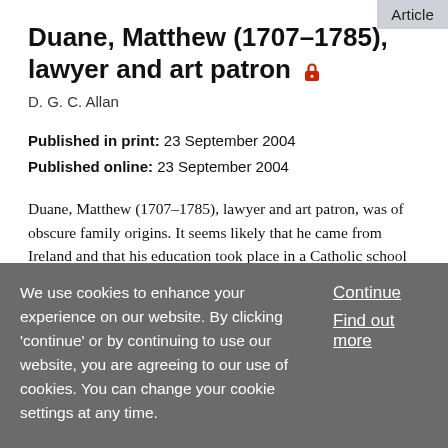Article
Duane, Matthew (1707–1785), lawyer and art patron 🔒
D. G. C. Allan
Published in print: 23 September 2004
Published online: 23 September 2004
Duane, Matthew (1707–1785), lawyer and art patron, was of obscure family origins. It seems likely that he came from Ireland and that his education took place in a Catholic school on the continent. Prevented by his religion from being called to the bar, he was by his mid-thirties practising
We use cookies to enhance your experience on our website. By clicking 'continue' or by continuing to use our website, you are agreeing to our use of cookies. You can change your cookie settings at any time.
Continue
Find out more